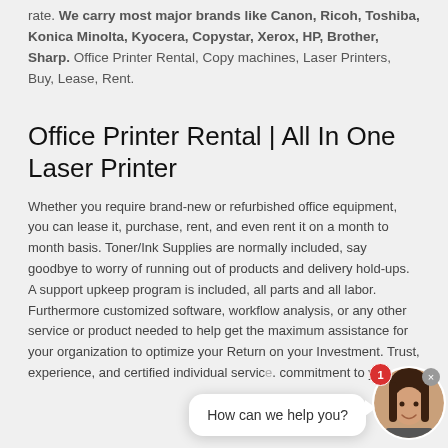rate. We carry most major brands like Canon, Ricoh, Toshiba, Konica Minolta, Kyocera, Copystar, Xerox, HP, Brother, Sharp. Office Printer Rental, Copy machines, Laser Printers, Buy, Lease, Rent.
Office Printer Rental | All In One Laser Printer
Whether you require brand-new or refurbished office equipment, you can lease it, purchase, rent, and even rent it on a month to month basis. Toner/Ink Supplies are normally included, say goodbye to worry of running out of products and delivery hold-ups. A support upkeep program is included, all parts and all labor. Furthermore customized software, workflow analysis, or any other service or product needed to help get the maximum assistance for your organization to optimize your Return on your Investment. Trust, experience, and certified individual service. commitment to you.
[Figure (other): Chat widget with a female avatar, a notification badge showing '1', a close button, and a speech bubble saying 'How can we help you?']